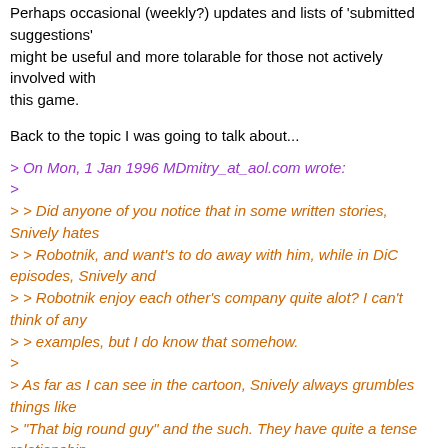Perhaps occasional (weekly?) updates and lists of 'submitted suggestions' might be useful and more tolarable for those not actively involved with this game.
Back to the topic I was going to talk about...
> On Mon, 1 Jan 1996 MDmitry_at_aol.com wrote:
>
> > Did anyone of you notice that in some written stories, Snively hates
> > Robotnik, and want's to do away with him, while in DiC episodes, Snively and
> > Robotnik enjoy each other's company quite alot? I can't think of any
> > examples, but I do know that somehow.
>
> As far as I can see in the cartoon, Snively always grumbles things like
> "That big round guy" and the such. They have quite a tense relationship.
I noticed that Snively's feelings tward Robotnik seemed to have changed a bit from the 1st season to the 2nd. In the first season I felt that